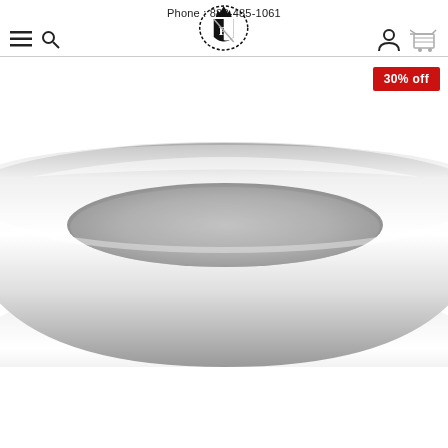Phone : 888-485-1061
[Figure (logo): Frost NYC logo with shield crest and brand name FROST NYC]
[Figure (photo): Close-up product photo of a polished silver/white gold plain band ring, cropped to show the top and sides of the ring against a white background. A red '30% off' badge is displayed in the top-right corner.]